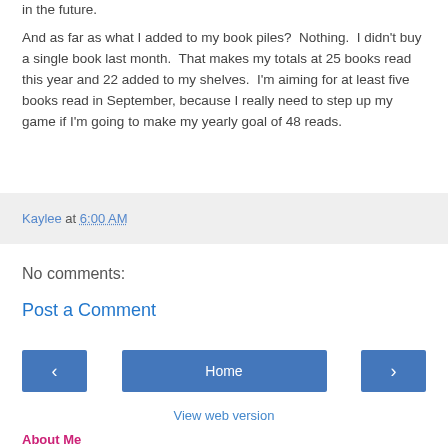in the future.
And as far as what I added to my book piles?  Nothing.  I didn't buy a single book last month.  That makes my totals at 25 books read this year and 22 added to my shelves.  I'm aiming for at least five books read in September, because I really need to step up my game if I'm going to make my yearly goal of 48 reads.
Kaylee at 6:00 AM
No comments:
Post a Comment
Home
View web version
About Me